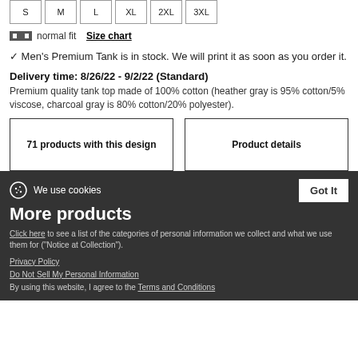[Figure (other): Size selector row showing S, M, L, XL, 2XL, 3XL boxes with borders]
normal fit  Size chart
✓ Men's Premium Tank is in stock. We will print it as soon as you order it.
Delivery time: 8/26/22 - 9/2/22 (Standard)
Premium quality tank top made of 100% cotton (heather gray is 95% cotton/5% viscose, charcoal gray is 80% cotton/20% polyester).
71 products with this design
Product details
We use cookies
More products
Click here to see a list of the categories of personal information we collect and what we use them for ("Notice at Collection").
Privacy Policy
Do Not Sell My Personal Information
By using this website, I agree to the Terms and Conditions